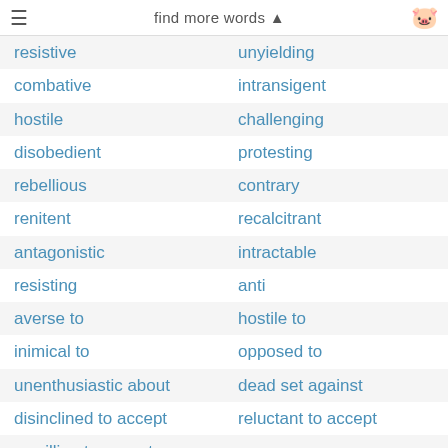find more words ▲
| resistive | unyielding |
| combative | intransigent |
| hostile | challenging |
| disobedient | protesting |
| rebellious | contrary |
| renitent | recalcitrant |
| antagonistic | intractable |
| resisting | anti |
| averse to | hostile to |
| inimical to | opposed to |
| unenthusiastic about | dead set against |
| disinclined to accept | reluctant to accept |
| unwilling to accept |  |
“He was resistant at first, but soon became a careful dresser and appreciative of his wife’s